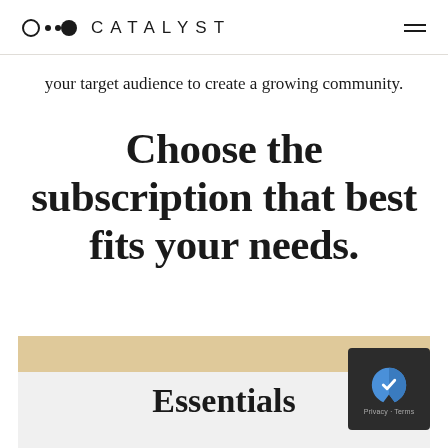CATALYST
your target audience to create a growing community.
Choose the subscription that best fits your needs.
Essentials